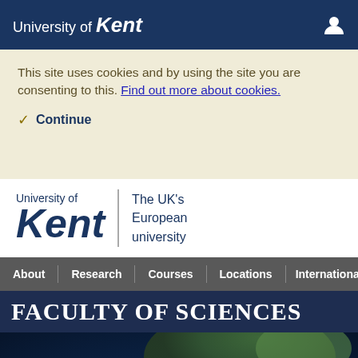University of Kent
This site uses cookies and by using the site you are consenting to this. Find out more about cookies.
✓ Continue
[Figure (logo): University of Kent logo with tagline 'The UK's European university']
About | Research | Courses | Locations | International
FACULTY OF SCIENCES
[Figure (photo): Aerial/satellite view of Earth from space showing landmass and atmosphere]